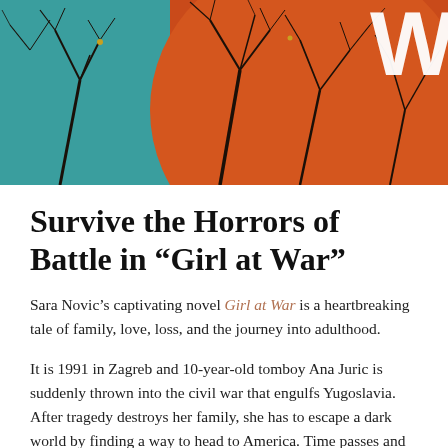[Figure (illustration): Book cover of 'Girl at War' showing split background of teal and orange-red with bare black tree branches silhouetted against both colors, and a large white letter 'W' partially visible in the upper right corner.]
Survive the Horrors of Battle in “Girl at War”
Sara Novic’s captivating novel Girl at War is a heartbreaking tale of family, love, loss, and the journey into adulthood.
It is 1991 in Zagreb and 10-year-old tomboy Ana Juric is suddenly thrown into the civil war that engulfs Yugoslavia. After tragedy destroys her family, she has to escape a dark world by finding a way to head to America. Time passes and